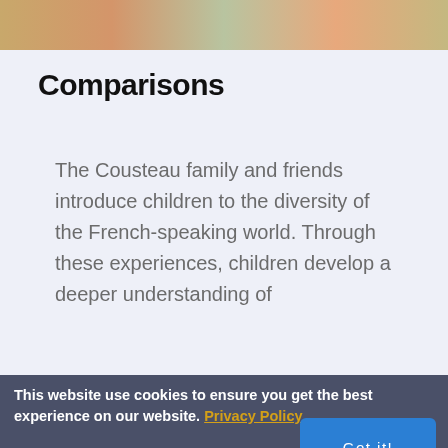[Figure (photo): Partial photo of children or people, cropped at top of page showing warm tones of orange, tan, and green]
Comparisons
The Cousteau family and friends introduce children to the diversity of the French-speaking world. Through these experiences, children develop a deeper understanding of
This website use cookies to ensure you get the best experience on our website. Privacy Policy
Got it!